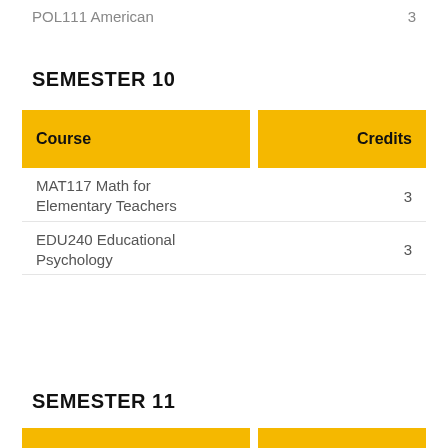POL111 American    3
SEMESTER 10
| Course | Credits |
| --- | --- |
| MAT117 Math for Elementary Teachers | 3 |
| EDU240 Educational Psychology | 3 |
SEMESTER 11